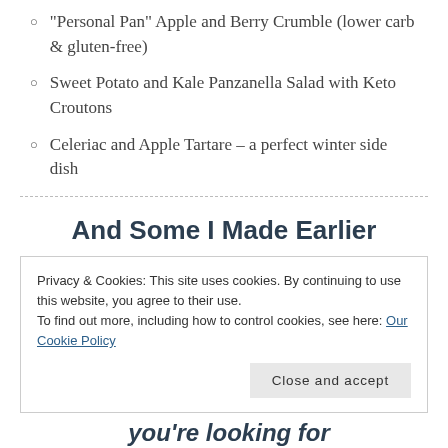“Personal Pan” Apple and Berry Crumble (lower carb & gluten-free)
Sweet Potato and Kale Panzanella Salad with Keto Croutons
Celeriac and Apple Tartare – a perfect winter side dish
And Some I Made Earlier
Privacy & Cookies: This site uses cookies. By continuing to use this website, you agree to their use.
To find out more, including how to control cookies, see here: Our Cookie Policy
Close and accept
you’re looking for